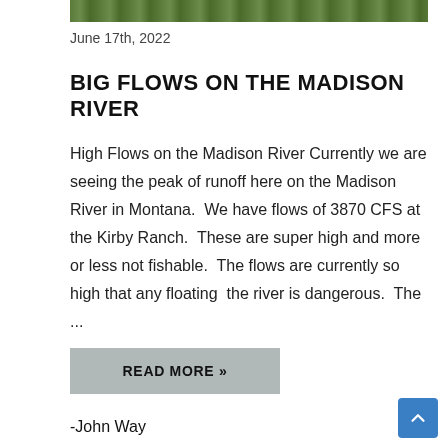[Figure (photo): Partial photo strip at top showing green grass/outdoor scene]
June 17th, 2022
BIG FLOWS ON THE MADISON RIVER
High Flows on the Madison River Currently we are seeing the peak of runoff here on the Madison River in Montana.  We have flows of 3870 CFS at the Kirby Ranch.  These are super high and more or less not fishable.  The flows are currently so high that any floating  the river is dangerous.  The ...
READ MORE »
-John Way